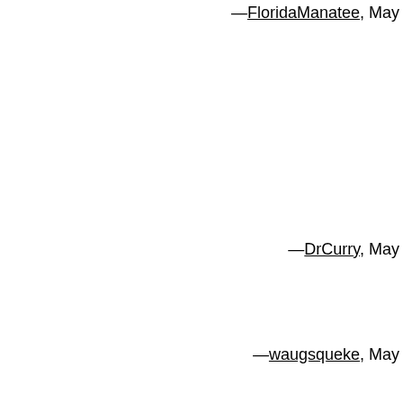—FloridaManatee, May
Freefall: note that it's an "opt-in" if you don't want people tracking they can't.
po: that's precisely the point of the service!
Manatee: see note to po - this is can look up from your phone and the person in the flesh. Using the as a walkite-talkie defeats this pu
—DrCurry, May
This is practically identical to my Waugsgety idea that you poo-poo while ago.
—waugsqueke, May
Well, in that case, I apologize for scepticism. (I don't remember tha apart from the name, I'm afraid, a as I might, I can't find it on web.archive.org.)
—DrCurry, May
Just last weekend, on a night out deserted; left on the club dancefl